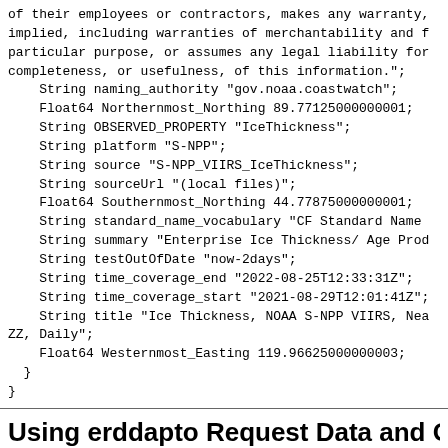of their employees or contractors, makes any warranty,
implied, including warranties of merchantability and f
particular purpose, or assumes any legal liability for
completeness, or usefulness, of this information.";
    String naming_authority "gov.noaa.coastwatch";
    Float64 Northernmost_Northing 89.77125000000001;
    String OBSERVED_PROPERTY "IceThickness";
    String platform "S-NPP";
    String source "S-NPP_VIIRS_IceThickness";
    String sourceUrl "(local files)";
    Float64 Southernmost_Northing 44.77875000000001;
    String standard_name_vocabulary "CF Standard Name
    String summary "Enterprise Ice Thickness/ Age Prod
    String testOutOfDate "now-2days";
    String time_coverage_end "2022-08-25T12:33:31Z";
    String time_coverage_start "2021-08-29T12:01:41Z";
    String title "Ice Thickness, NOAA S-NPP VIIRS, Nea
ZZ, Daily";
    Float64 Westernmost_Easting 119.96625000000003;
  }
}
Using erddapto Request Data and Graphs f